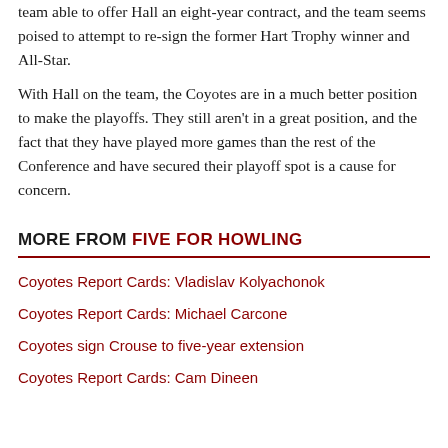team able to offer Hall an eight-year contract, and the team seems poised to attempt to re-sign the former Hart Trophy winner and All-Star.
With Hall on the team, the Coyotes are in a much better position to make the playoffs. They still aren't in a great position, and the fact that they have played more games than the rest of the Conference and have secured their playoff spot is a cause for concern.
MORE FROM FIVE FOR HOWLING
Coyotes Report Cards: Vladislav Kolyachonok
Coyotes Report Cards: Michael Carcone
Coyotes sign Crouse to five-year extension
Coyotes Report Cards: Cam Dineen